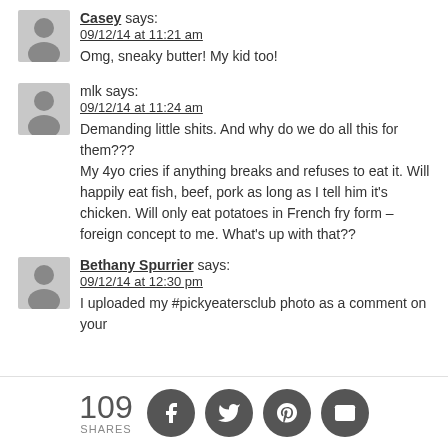Casey says:
09/12/14 at 11:21 am
Omg, sneaky butter! My kid too!
mlk says:
09/12/14 at 11:24 am
Demanding little shits. And why do we do all this for them???
My 4yo cries if anything breaks and refuses to eat it. Will happily eat fish, beef, pork as long as I tell him it's chicken. Will only eat potatoes in French fry form – foreign concept to me. What's up with that??
Bethany Spurrier says:
09/12/14 at 12:30 pm
I uploaded my #pickyeatersclub photo as a comment on your
109
SHARES